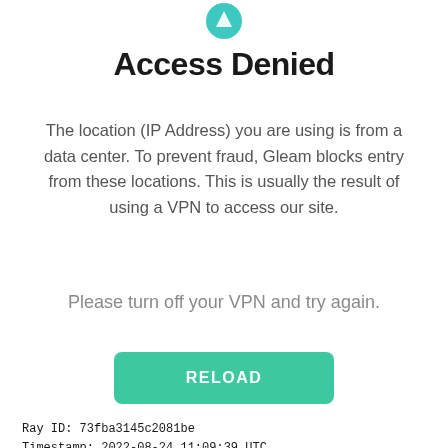[Figure (logo): Gleam logo icon, small blue/teal icon at top center]
Access Denied
The location (IP Address) you are using is from a data center. To prevent fraud, Gleam blocks entry from these locations. This is usually the result of using a VPN to access our site.
Please turn off your VPN and try again.
RELOAD
Ray ID: 73fba3145c2081be
Timestamp: 2022-08-24 11:09:39 UTC
Your IP address: 44.192.50.188
Requested URL: gleam.io/65B5...